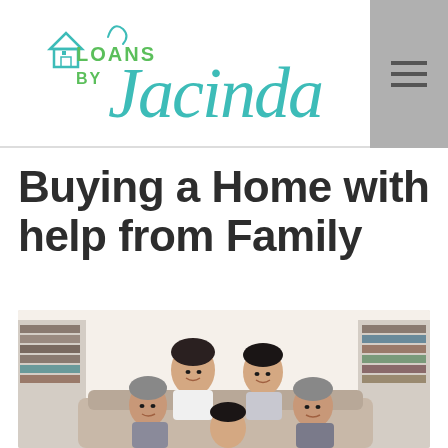[Figure (logo): Loans by Jacinda logo — teal/turquoise cursive wordmark with small house icon]
Buying a Home with help from Family
[Figure (photo): Multi-generational Asian family of five smiling together in a living room setting with bookshelves in background]